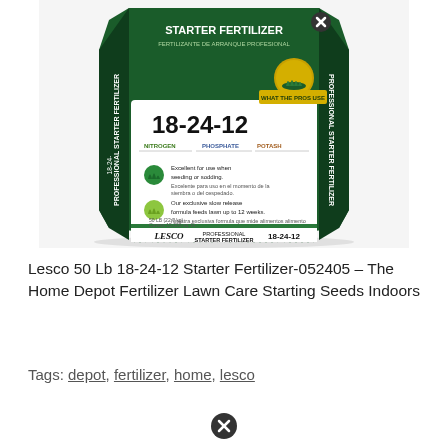[Figure (photo): A bag of Lesco Professional Starter Fertilizer 18-24-12, 50 lb bag with green and white packaging, showing product details including nitrogen, phosphate, potassium breakdown and usage instructions. Lesco brand logo at bottom.]
Lesco 50 Lb 18-24-12 Starter Fertilizer-052405 – The Home Depot Fertilizer Lawn Care Starting Seeds Indoors
Tags: depot, fertilizer, home, lesco